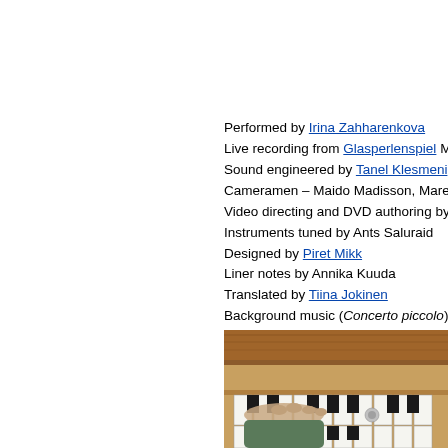Performed by Irina Zahharenkova
Live recording from Glasperlenspiel M
Sound engineered by Tanel Klesmeni
Cameramen – Maido Madisson, Mare
Video directing and DVD authoring by
Instruments tuned by Ants Saluraid
Designed by Piret Mikk
Liner notes by Annika Kuuda
Translated by Tiina Jokinen
Background music (Concerto piccolo)
Produced by Peeter Vähi
[Figure (photo): Photo of hands playing organ keyboard with wooden case]